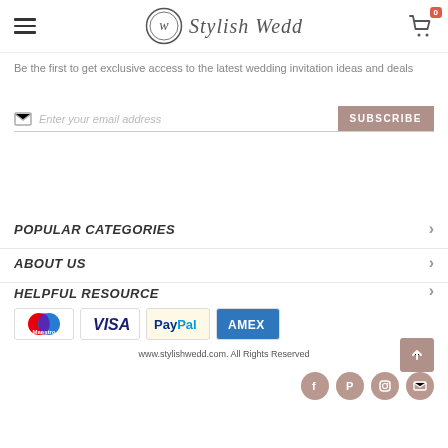Stylish Wedd — navigation header with hamburger menu, logo, and cart icon (0 items)
Be the first to get exclusive access to the latest wedding invitation ideas and deals
Enter your email address  SUBSCRIBE
POPULAR CATEGORIES
ABOUT US
HELPFUL RESOURCE
[Figure (logo): Payment logos: Maestro, VISA, PayPal, AMEX]
www.stylishwedd.com. All Rights Reserved
[Figure (other): Social media icons: Facebook, Pinterest, Instagram, Email]